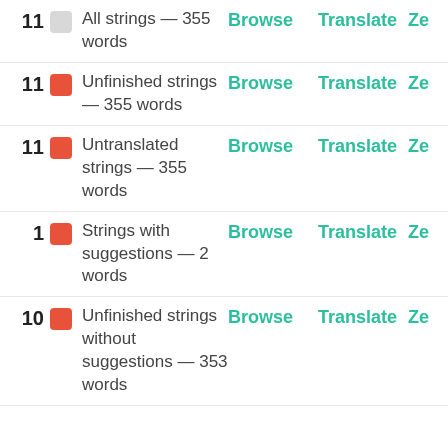11 — All strings — 355 words | Browse | Translate | Ze
11 — Unfinished strings — 355 words | Browse | Translate | Ze
11 — Untranslated strings — 355 words | Browse | Translate | Ze
1 — Strings with suggestions — 2 words | Browse | Translate | Ze
10 — Unfinished strings without suggestions — 353 words | Browse | Translate | Ze